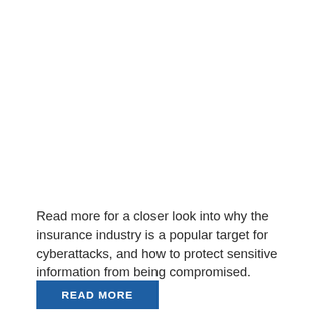Read more for a closer look into why the insurance industry is a popular target for cyberattacks, and how to protect sensitive information from being compromised.
READ MORE